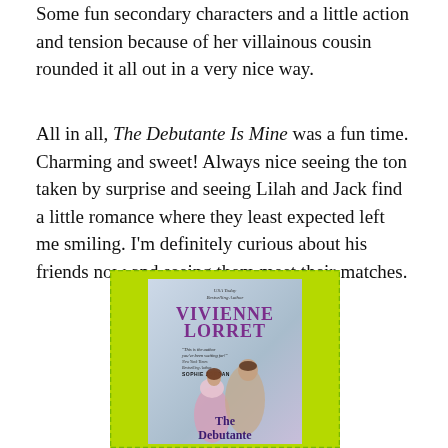Some fun secondary characters and a little action and tension because of her villainous cousin rounded it all out in a very nice way.
All in all, The Debutante Is Mine was a fun time. Charming and sweet! Always nice seeing the ton taken by surprise and seeing Lilah and Jack find a little romance where they least expected left me smiling. I'm definitely curious about his friends now and seeing them meet their matches.
[Figure (illustration): Book cover of 'The Debutante Is Mine' by Vivienne Lorret, a USA Today Bestselling Author. Cover shows a couple embracing in a romantic pose with a light blue/lavender background. Features a quote from New York Times Bestselling Author Sophie Jordan. The cover is displayed within a bright green dashed-border frame.]